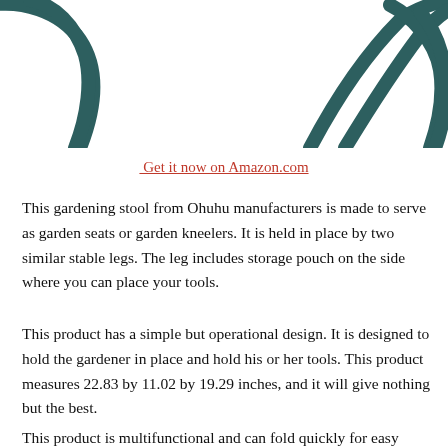[Figure (photo): Two dark teal/green metal wire legs of a gardening stool/kneeler, shown at the top of the page against a white background. The left leg is partially visible on the left side and the right leg is more fully visible on the right side.]
Get it now on Amazon.com
This gardening stool from Ohuhu manufacturers is made to serve as garden seats or garden kneelers. It is held in place by two similar stable legs. The leg includes storage pouch on the side where you can place your tools.
This product has a simple but operational design. It is designed to hold the gardener in place and hold his or her tools. This product measures 22.83 by 11.02 by 19.29 inches, and it will give nothing but the best.
This product is multifunctional and can fold quickly for easy